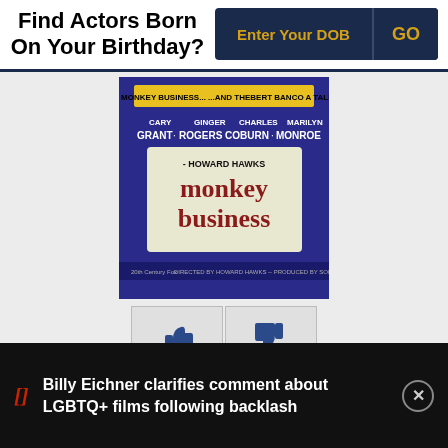Find Actors Born On Your Birthday?
[Figure (screenshot): DOB input widget with 'Enter Your DOB' field and 'GO' button on dark navy background]
[Figure (photo): Movie poster for 'Monkey Business' directed by Howard Hawks, starring Cary Grant, Ginger Rogers, Charles Coburn, Marilyn Monroe]
43 thumbs up, 10 thumbs down
Monkey Business is a comedy film which tells the story of a scientist who developed a...
Billy Eichner clarifies comment about LGBTQ+ films following backlash